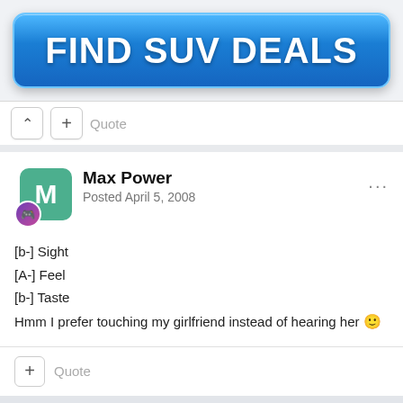[Figure (other): Blue gradient button/banner with bold white text reading FIND SUV DEALS]
Quote
Max Power
Posted April 5, 2008
[b-] Sight
[A-] Feel
[b-] Taste
Hmm I prefer touching my girlfriend instead of hearing her 🙂
Quote